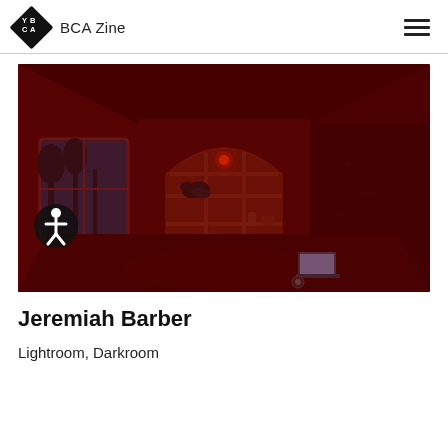YBCA Zine
[Figure (photo): Interior of a darkroom space bathed in deep red light, featuring built-in wooden shelving/cubbies along the back wall in an arched shape, a window on the left showing a nighttime outdoor scene with trees, a raven/crow perched on a shelf, a small glowing red/orange light, a laptop on the floor, and an accessibility icon button in the lower left.]
Jeremiah Barber
Lightroom, Darkroom